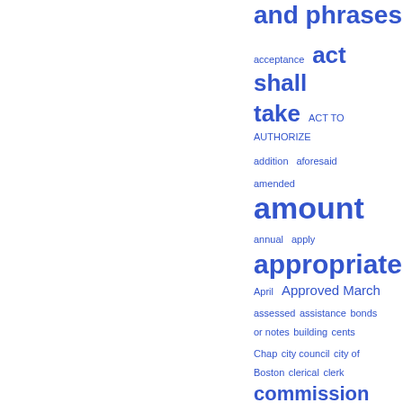and phrases
[Figure (other): Tag cloud of legal terms in varying font sizes indicating frequency, including: acceptance, act shall take, ACT TO AUTHORIZE, addition, aforesaid, amended, amount, annual, apply, appropriated, Approved April, Approved March, assessed, assistance, bonds or notes, building, cents, Chap, city council, city of Boston, clerical, clerk, commission, commissioners, commonwealth, Company, construction, corporation, court]